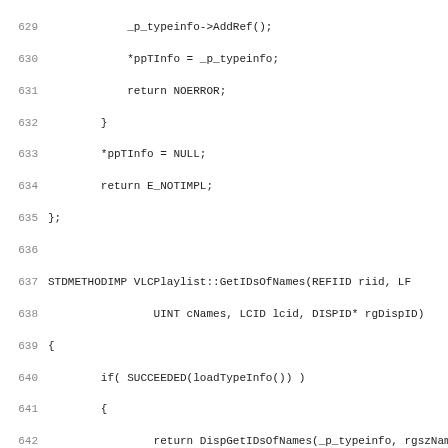Source code listing, lines 629-660, C++ implementation of VLCPlaylist methods including GetTypeInfo, GetIDsOfNames, Invoke, and get_itemCount.